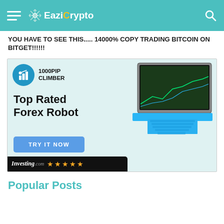EaziCrypto
YOU HAVE TO SEE THIS..... 14000% COPY TRADING BITCOIN ON BITGET!!!!!!!
[Figure (advertisement): 1000PIP CLIMBER ad banner: Top Rated Forex Robot, TRY IT NOW button, Investing.com 5-star rating, laptop image with trading charts]
Popular Posts